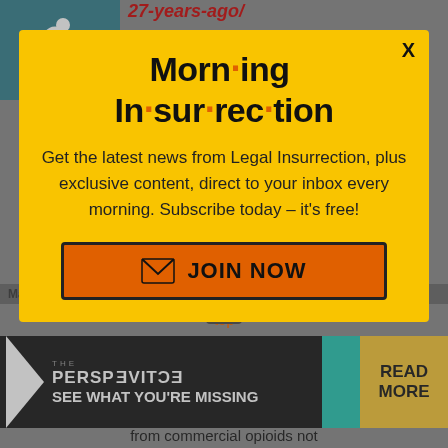27-years-ago/
In a speech delivered at the Miami Herald's Company of the Year Awards luncheon [April 1990], Donald Trump condemned the "war
[Figure (screenshot): Modal popup advertisement for Morning Insurrection newsletter on yellow background]
Mac45 in reply to MSimon. |
August 1 ... 18 at 11:0... pm
[Figure (infographic): The Perspective ad banner with 'SEE WHAT YOU'RE MISSING' text and 'READ MORE' button]
from commercial opioids not